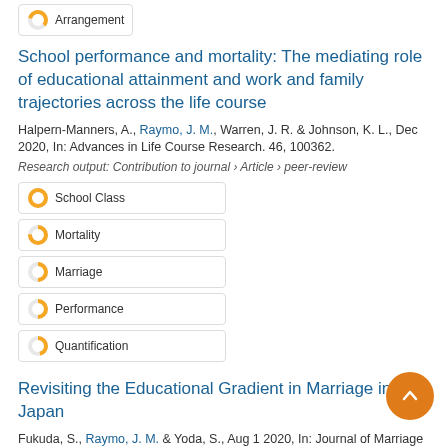Arrangement
School performance and mortality: The mediating role of educational attainment and work and family trajectories across the life course
Halpern-Manners, A., Raymo, J. M., Warren, J. R. & Johnson, K. L., Dec 2020, In: Advances in Life Course Research. 46, 100362.
Research output: Contribution to journal › Article › peer-review
School Class
Mortality
Marriage
Performance
Quantification
Revisiting the Educational Gradient in Marriage in Japan
Fukuda, S., Raymo, J. M. & Yoda, S., Aug 1 2020, In: Journal of Marriage and Family. 82, 4, p. 1378-1396 19 p.